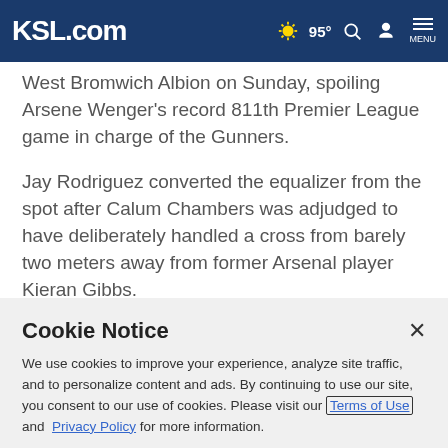KSL.com | 95° | Search | Account | MENU
West Bromwich Albion on Sunday, spoiling Arsene Wenger's record 811th Premier League game in charge of the Gunners.
Jay Rodriguez converted the equalizer from the spot after Calum Chambers was adjudged to have deliberately handled a cross from barely two meters away from former Arsenal player Kieran Gibbs.
Cookie Notice
We use cookies to improve your experience, analyze site traffic, and to personalize content and ads. By continuing to use our site, you consent to our use of cookies. Please visit our Terms of Use and Privacy Policy for more information.
Continue